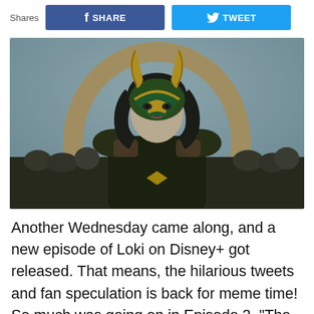[Figure (screenshot): Top bar with Shares label and Facebook Share button and Twitter Tweet button]
[Figure (photo): Loki (Tom Hiddleston) wearing his gold horned helmet and dark green armor, standing in a crowd scene, looking directly at camera]
Another Wednesday came along, and a new episode of Loki on Disney+ got released. That means, the hilarious tweets and fan speculation is back for meme time! So much was going on in Episode 2, “The Variant” made us hold on to our seats, and holding out